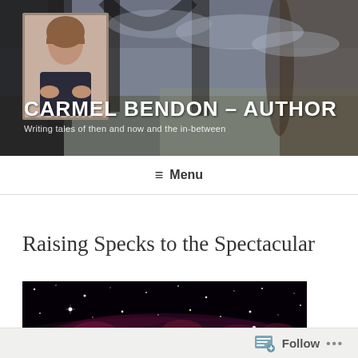[Figure (photo): Website header banner with background photo of stone arches overlooking a landscape with cloudy sky, and an inset portrait photo of a woman (the author) in the top-left]
CARMEL BENDON – AUTHOR
Writing tales of then and now and the in-between
≡ Menu
JUNE 17, 2020 BY CARMEL BENDON
Raising Specks to the Spectacular
[Figure (photo): Dark space/nebula photograph showing stars and cosmic dust clouds with pink/red star-forming regions against a dark background]
Follow …